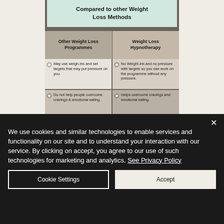[Figure (infographic): Comparison infographic titled 'Compared to other Weight Loss Methods' with two columns: 'Other Weight Loss Programmes' vs 'Weight Loss Hypnotherapy', comparing three aspects: weigh-ins/targets, cravings/emotional eating, and willpower.]
We use cookies and similar technologies to enable services and functionality on our site and to understand your interaction with our service. By clicking on accept, you agree to our use of such technologies for marketing and analytics. See Privacy Policy
Cookie Settings
Accept